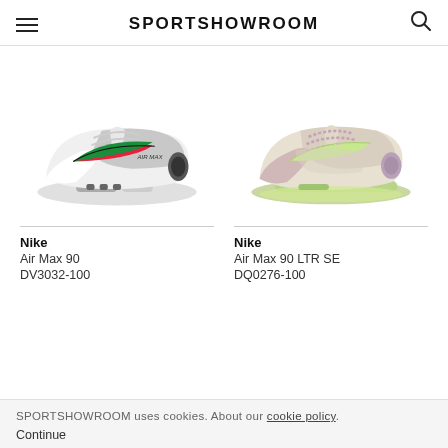SPORTSHOWROOM
[Figure (photo): Nike Air Max 90 sneaker in white/grey with multicolor swoosh logo]
[Figure (photo): Nike Air Max 90 LTR SE sneaker in beige/green/purple colorway]
Nike
Air Max 90
DV3032-100
Nike
Air Max 90 LTR SE
DQ0276-100
SPORTSHOWROOM uses cookies. About our cookie policy.
Continue